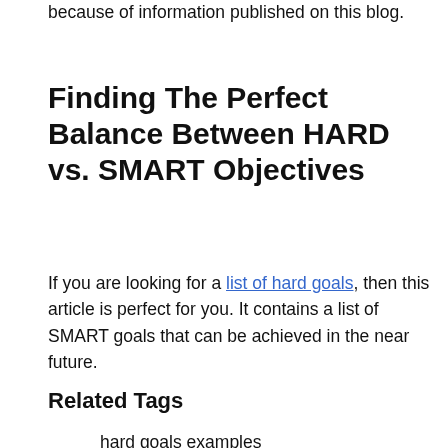because of information published on this blog.
Finding The Perfect Balance Between HARD vs. SMART Objectives
If you are looking for a list of hard goals, then this article is perfect for you. It contains a list of SMART goals that can be achieved in the near future.
Related Tags
hard goals examples